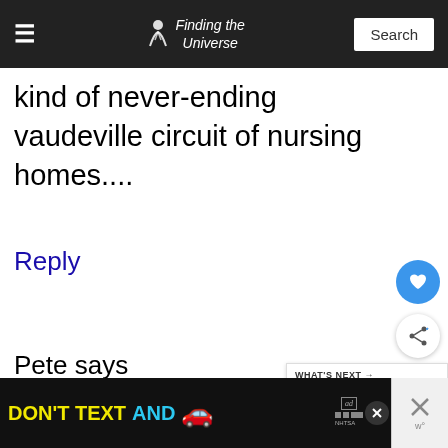Finding the Universe
kind of never-ending vaudeville circuit of nursing homes....
Reply
Pete says
8th September 2012 at 8:25 am
[Figure (screenshot): DON'T TEXT AND [car emoji] advertisement banner with NHTSA logo]
[Figure (other): Wolfe thumbnail with WHAT'S NEXT label and text: Thoughts on travelling in...]